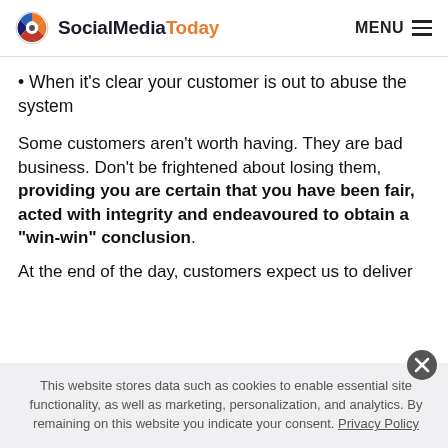SocialMediaToday  MENU
• When it's clear your customer is out to abuse the system
Some customers aren't worth having. They are bad business. Don't be frightened about losing them, providing you are certain that you have been fair, acted with integrity and endeavoured to obtain a "win-win" conclusion.
At the end of the day, customers expect us to deliver
This website stores data such as cookies to enable essential site functionality, as well as marketing, personalization, and analytics. By remaining on this website you indicate your consent. Privacy Policy